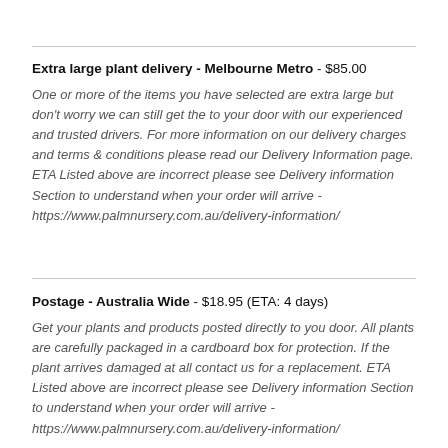Extra large plant delivery - Melbourne Metro - $85.00
One or more of the items you have selected are extra large but don't worry we can still get the to your door with our experienced and trusted drivers. For more information on our delivery charges and terms & conditions please read our Delivery Information page. ETA Listed above are incorrect please see Delivery information Section to understand when your order will arrive - https://www.palmnursery.com.au/delivery-information/
Postage - Australia Wide - $18.95 (ETA: 4 days)
Get your plants and products posted directly to you door. All plants are carefully packaged in a cardboard box for protection. If the plant arrives damaged at all contact us for a replacement. ETA Listed above are incorrect please see Delivery information Section to understand when your order will arrive - https://www.palmnursery.com.au/delivery-information/